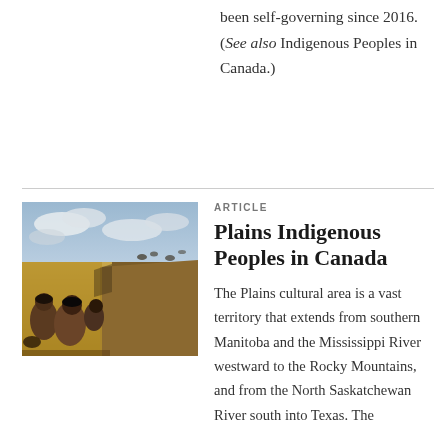been self-governing since 2016. (See also Indigenous Peoples in Canada.)
[Figure (illustration): Painting depicting Indigenous people on the Plains, crouching near a cliff edge watching a buffalo hunt in progress across a vast golden grassland under a cloudy sky.]
ARTICLE
Plains Indigenous Peoples in Canada
The Plains cultural area is a vast territory that extends from southern Manitoba and the Mississippi River westward to the Rocky Mountains, and from the North Saskatchewan River south into Texas. The